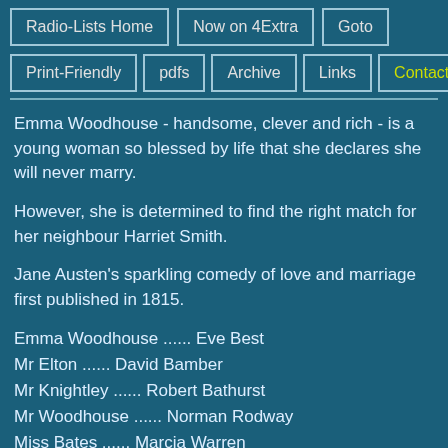Radio-Lists Home | Now on 4Extra | Goto
Print-Friendly | pdfs | Archive | Links | Contact
Emma Woodhouse - handsome, clever and rich - is a young woman so blessed by life that she declares she will never marry.
However, she is determined to find the right match for her neighbour Harriet Smith.
Jane Austen's sparkling comedy of love and marriage first published in 1815.
Emma Woodhouse ...... Eve Best
Mr Elton ...... David Bamber
Mr Knightley ...... Robert Bathurst
Mr Woodhouse ...... Norman Rodway
Miss Bates ...... Marcia Warren
Mrs Weston ...... Patience Tomlinson
Harriet Smith ...... Ellie Beaven
Mr Weston ...... Andrew Wincott
Jane Fairfax ...... Beth Chalmers